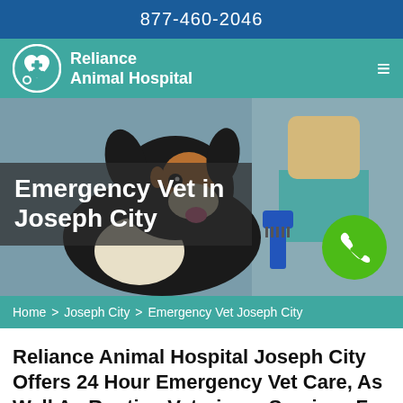877-460-2046
[Figure (logo): Reliance Animal Hospital logo with heart and animal silhouette icon]
Reliance Animal Hospital
[Figure (photo): A dog being groomed by a veterinarian/groomer, with a blue brush visible]
Emergency Vet in Joseph City
Home > Joseph City > Emergency Vet Joseph City
Reliance Animal Hospital Joseph City Offers 24 Hour Emergency Vet Care, As Well As Routine Veterinary Services For